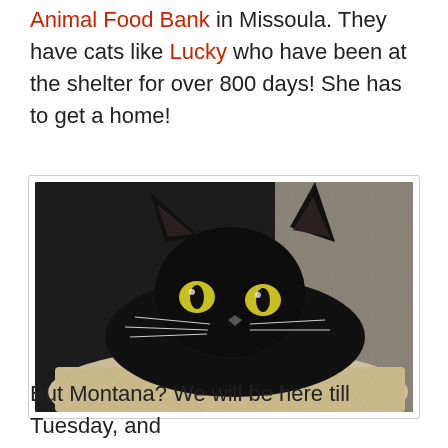Animal Food Bank in Missoula. They have cats like Lucky who have been at the shelter for over 800 days!  She has to get a home!
[Figure (photo): A black cat with yellow-green eyes lying on a fluffy beige surface, wearing a tan collar, against a patterned background. The cat is looking directly at the camera.]
But Montana? We will be here till Tuesday, and